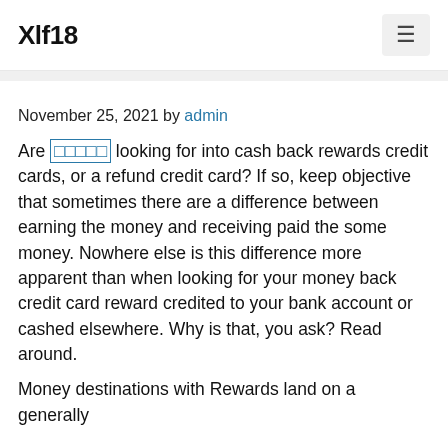Xlf18
November 25, 2021 by admin
Are □□□□□ looking for into cash back rewards credit cards, or a refund credit card? If so, keep objective that sometimes there are a difference between earning the money and receiving paid the some money. Nowhere else is this difference more apparent than when looking for your money back credit card reward credited to your bank account or cashed elsewhere. Why is that, you ask? Read around.
Money destinations with Rewards land on a generally...